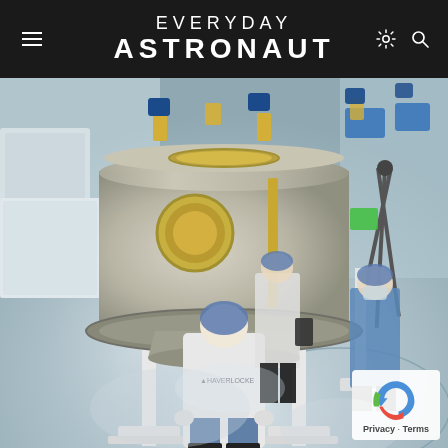EVERYDAY ASTRONAUT
[Figure (photo): Engineers in white cleanroom suits and blue hairnets and shoe covers working around a large cylindrical spacecraft component (possibly a lunar lander or space module) mounted on white support stands inside a cleanroom facility. The floor is polished light grey. One engineer stands in the foreground with back to camera wearing a white lab coat. Additional engineers work near the spacecraft on either side. Blue step ladders and equipment visible in the background.]
Privacy · Terms